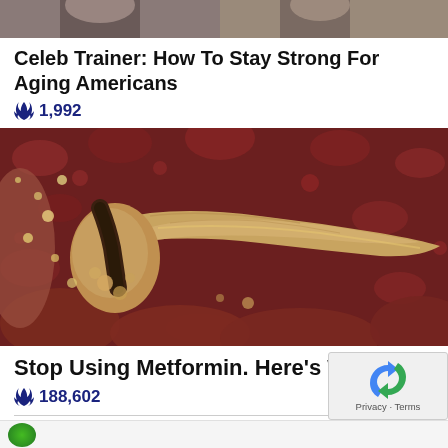[Figure (photo): Partial view of a person or persons at the top of the page, cropped]
Celeb Trainer: How To Stay Strong For Aging Americans
🔥 1,992
[Figure (photo): Medical illustration of the pancreas and surrounding organs, rendered in realistic detail with golden/tan colored pancreas against red background tissue]
Stop Using Metformin. Here's Why
🔥 188,602
Sponsored Ad
Privacy · Terms